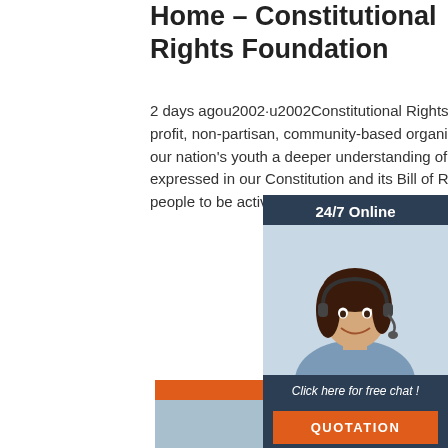Home – Constitutional Rights Foundation
2 days agou2002·u2002Constitutional Rights Foundation (CRF) is a non-profit, non-partisan, community-based organization. CRF seeks to instill in our nation's youth a deeper understanding of citizenship through values expressed in our Constitution and its Bill of Rights and to educate young people to be active and responsible participants in our s
[Figure (illustration): 24/7 Online chat widget with female customer service agent wearing headset, dark navy background, orange QUOTATION button]
Get Price
[Figure (illustration): TOP badge with dotted arc above the text TOP in orange, on white background]
[Figure (photo): Bottom image showing a person, light blue/grey background]